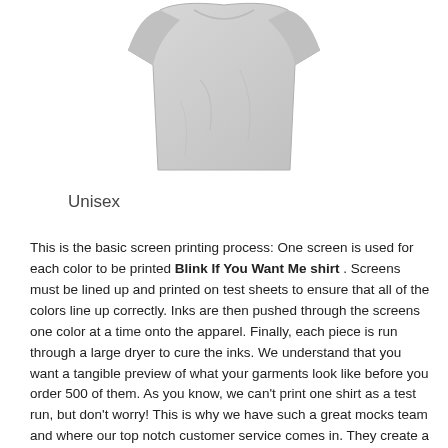[Figure (photo): A light gray unisex t-shirt shown from the front, cropped to show the torso area. The shirt is plain white/light gray with no print visible.]
Unisex
This is the basic screen printing process: One screen is used for each color to be printed Blink If You Want Me shirt . Screens must be lined up and printed on test sheets to ensure that all of the colors line up correctly. Inks are then pushed through the screens one color at a time onto the apparel. Finally, each piece is run through a large dryer to cure the inks. We understand that you want a tangible preview of what your garments look like before you order 500 of them. As you know, we can't print one shirt as a test run, but don't worry! This is why we have such a great mocks team and where our top notch customer service comes in. They create a mock-up of your order so you can get the best idea of what it will look like. You get a photo-realistic example of your shirts. These samples are so great that many of our clients use them on their websites!Before